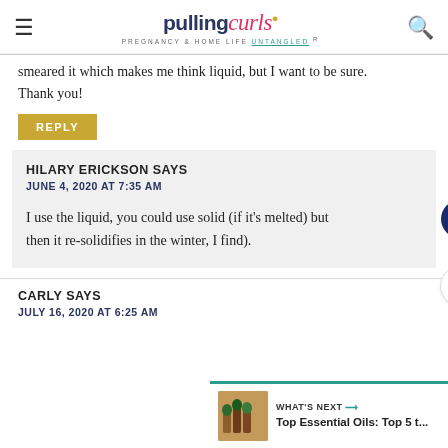pulling curls — PREGNANCY & HOME LIFE UNTANGLED
smeared it which makes me think liquid, but I want to be sure. Thank you!
REPLY
HILARY ERICKSON SAYS
JUNE 4, 2020 AT 7:35 AM

I use the liquid, you could use solid (if it's melted) but then it re-solidifies in the winter, I find).
CARLY SAYS
JULY 16, 2020 AT 6:25 AM
[Figure (other): What's Next thumbnail with essential oils image]